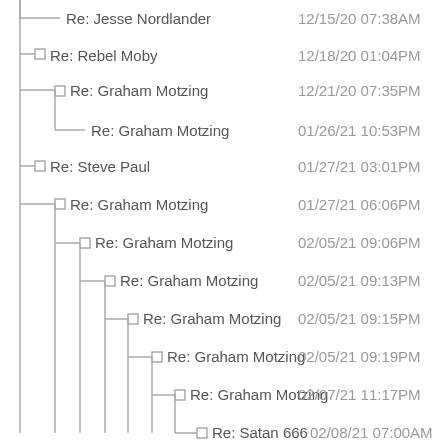[Figure (other): Thread/reply tree view showing email or forum messages with indented hierarchy lines and squares, listing author names and timestamps]
Re: Jesse Nordlander   12/15/20 07:38AM
Re: Rebel Moby   12/18/20 01:04PM
Re: Graham Motzing   12/21/20 07:35PM
Re: Graham Motzing   01/26/21 10:53PM
Re: Steve Paul   01/27/21 03:01PM
Re: Graham Motzing   01/27/21 06:06PM
Re: Graham Motzing   02/05/21 09:06PM
Re: Graham Motzing   02/05/21 09:13PM
Re: Graham Motzing   02/05/21 09:15PM
Re: Graham Motzing   02/05/21 09:19PM
Re: Graham Motzing   02/07/21 11:17PM
Re: Satan 666   02/08/21 07:00AM
Re: Graham Motzing   02/09/21 05:29PM
Re: Satan 666   02/09/21 06:02PM